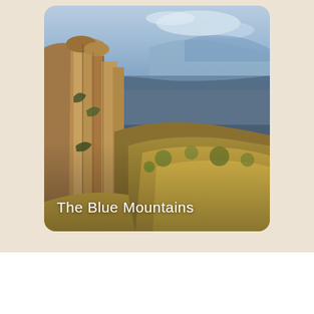[Figure (photo): Aerial photograph of the Blue Mountains, Australia, showing dramatic sandstone cliffs with tall vertical rock formations on the left, dense forested slopes, and a vast blue haze-filled valley extending to distant mountain ridges in the background. Text overlay reads 'The Blue Mountains' in white at the bottom left.]